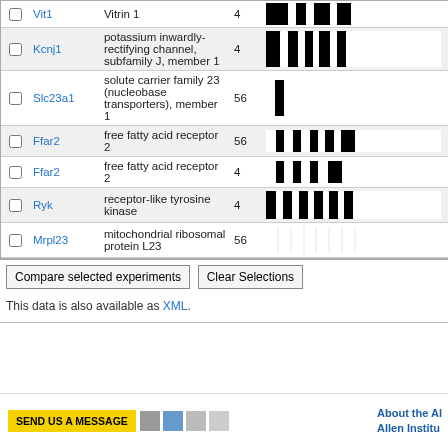|  | Gene | Description | # | Expression Pattern |
| --- | --- | --- | --- | --- |
|  | Vit1 | Vitrin 1 | 4 | [pattern] |
|  | Kcnj1 | potassium inwardly-rectifying channel, subfamily J, member 1 | 4 | [pattern] |
|  | Slc23a1 | solute carrier family 23 (nucleobase transporters), member 1 | 56 | [pattern] |
|  | Ffar2 | free fatty acid receptor 2 | 56 | [pattern] |
|  | Ffar2 | free fatty acid receptor 2 | 4 | [pattern] |
|  | Ryk | receptor-like tyrosine kinase | 4 | [pattern] |
|  | Mrpl23 | mitochondrial ribosomal protein L23 | 56 | [pattern] |
Compare selected experiments   Clear Selections
This data is also available as XML.
About the Allen Institute